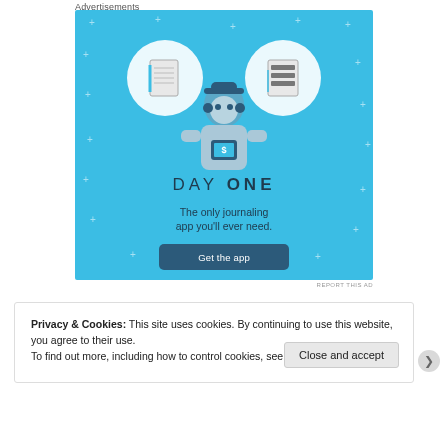Advertisements
[Figure (illustration): Day One journaling app advertisement on a blue background. Shows a person holding a phone with two circular icons (notebook and list), the text 'DAY ONE', tagline 'The only journaling app you'll ever need.', and a 'Get the app' button.]
REPORT THIS AD
Privacy & Cookies: This site uses cookies. By continuing to use this website, you agree to their use.
To find out more, including how to control cookies, see here: Cookie Policy
Close and accept